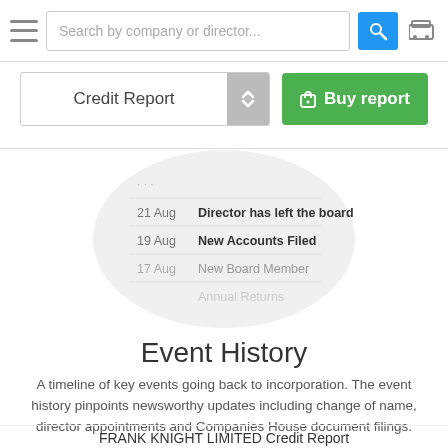Search by company or director...
Credit Report
Buy report
[Figure (screenshot): Popup circle showing event history timeline items: 21 Aug - Director has left the board, 19 Aug - New Accounts Filed, 17 Aug - New Board Member, Annual Returns]
Event History
A timeline of key events going back to incorporation. The event history pinpoints newsworthy updates including change of name, director appointments and Companies House document filings.
FRANK KNIGHT LIMITED Credit Report